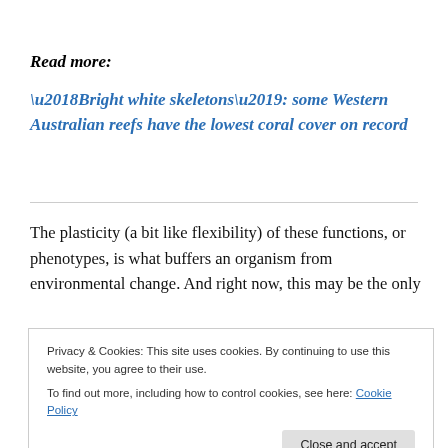Read more:
‘Bright white skeletons’: some Western Australian reefs have the lowest coral cover on record
The plasticity (a bit like flexibility) of these functions, or phenotypes, is what buffers an organism from environmental change. And right now, this may be the only
Privacy & Cookies: This site uses cookies. By continuing to use this website, you agree to their use.
To find out more, including how to control cookies, see here: Cookie Policy
We looked at expression patterns of thousands of genes